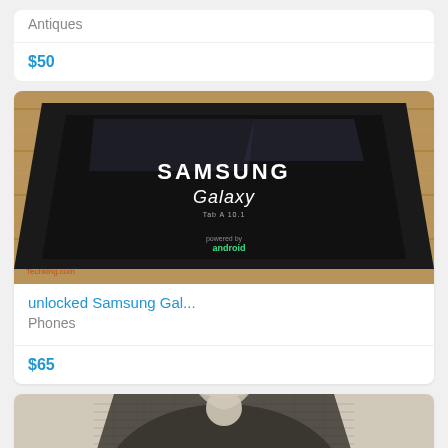Antiques
$50
[Figure (photo): Samsung Galaxy tablet/phone lying in its black box packaging on a wooden surface. The screen shows SAMSUNG Galaxy logo and 'powered by android' text. A watermark reads 'Techking.com' in the lower left corner.]
unlocked Samsung Gal...
Phones
$65
[Figure (photo): A dark/black sheer mesh long-sleeve top laid on a light background, showing the back of the garment with a circular cutout detail at the upper back.]